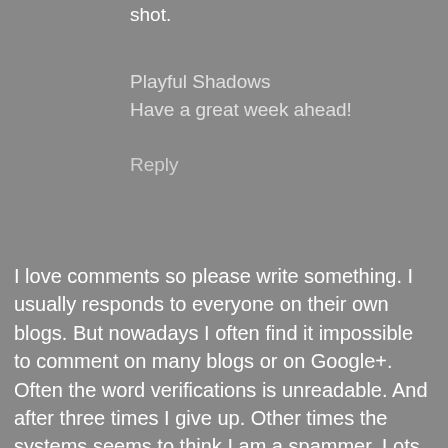shot.
Playful Shadows
Have a great week ahead!
Reply
I love comments so please write something. I usually responds to everyone on their own blogs. But nowadays I often find it impossible to comment on many blogs or on Google+. Often the word verifications is unreadable. And after three times I give up. Other times the systems seems to think I am a spammer. Lots of bloggers loose comments that way. :( So, if you don´t see me comment on your blog that is the reason.